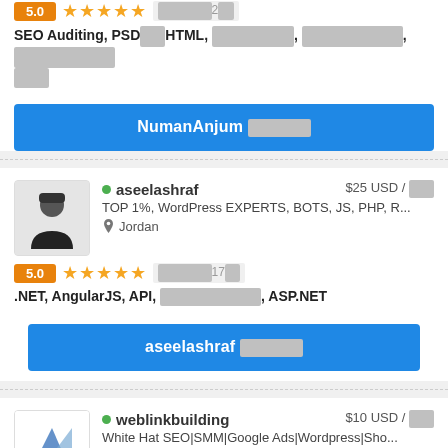5.0 ★★★★★ [redacted]2[redacted]
SEO Auditing, PSD[redacted]HTML, [redacted], [redacted], [redacted][redacted]
NumanAnjum [redacted]
aseelashraf $25 USD / [redacted]
TOP 1%, WordPress EXPERTS, BOTS, JS, PHP, R...
Jordan
5.0 ★★★★★ [redacted]17[redacted]
.NET, AngularJS, API, [redacted], ASP.NET
aseelashraf [redacted]
weblinkbuilding $10 USD / [redacted]
White Hat SEO|SMM|Google Ads|Wordpress|Sho...